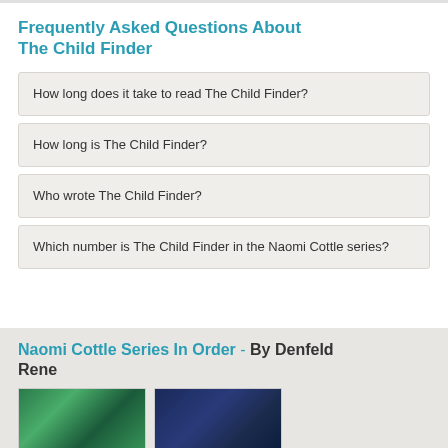Frequently Asked Questions About The Child Finder
How long does it take to read The Child Finder?
How long is The Child Finder?
Who wrote The Child Finder?
Which number is The Child Finder in the Naomi Cottle series?
Naomi Cottle Series In Order - By Denfeld Rene
[Figure (photo): Two book cover images side by side: left is a green-toned cover, right is a dark blue-toned cover.]